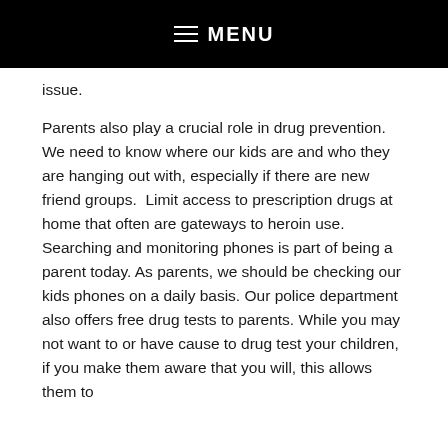MENU
issue.
Parents also play a crucial role in drug prevention.  We need to know where our kids are and who they are hanging out with, especially if there are new friend groups.  Limit access to prescription drugs at home that often are gateways to heroin use.   Searching and monitoring phones is part of being a parent today. As parents, we should be checking our kids phones on a daily basis. Our police department also offers free drug tests to parents. While you may not want to or have cause to drug test your children, if you make them aware that you will, this allows them to